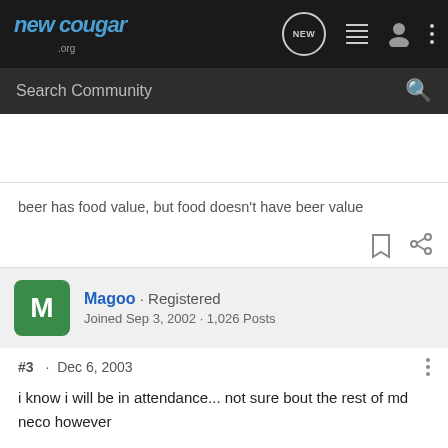newcougar.org
Search Community
beer has food value, but food doesn't have beer value
Magoo · Registered
Joined Sep 3, 2002 · 1,026 Posts
#3 · Dec 6, 2003
i know i will be in attendance... not sure bout the rest of md neco however